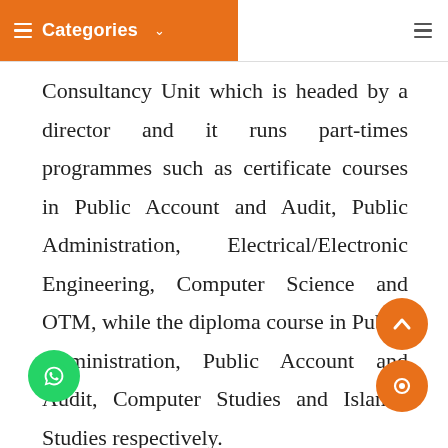Categories
Consultancy Unit which is headed by a director and it runs part-times programmes such as certificate courses in Public Account and Audit, Public Administration, Electrical/Electronic Engineering, Computer Science and OTM, while the diploma course in Public Administration, Public Account and Audit, Computer Studies and Islamic Studies respectively.